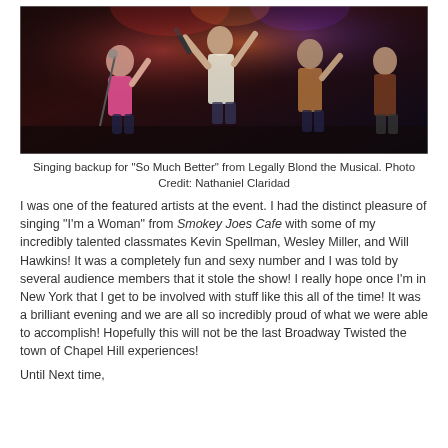[Figure (photo): Performance photo showing performers on stage singing backup for 'So Much Better' from Legally Blond the Musical, with colorful stage lighting.]
Singing backup for "So Much Better" from Legally Blond the Musical. Photo Credit: Nathaniel Claridad
I was one of the featured artists at the event. I had the distinct pleasure of singing "I'm a Woman" from Smokey Joes Cafe with some of my incredibly talented classmates Kevin Spellman, Wesley Miller, and Will Hawkins! It was a completely fun and sexy number and I was told by several audience members that it stole the show! I really hope once I'm in New York that I get to be involved with stuff like this all of the time! It was a brilliant evening and we are all so incredibly proud of what we were able to accomplish! Hopefully this will not be the last Broadway Twisted the town of Chapel Hill experiences!
Until Next time,